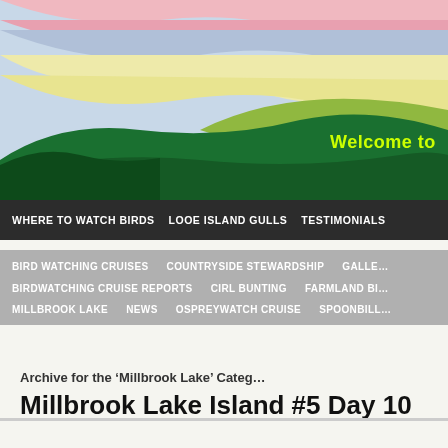[Figure (illustration): Website banner with wavy layered landscape illustration in pink, blue, yellow-green, and dark green colors. Text 'Welcome to' appears in yellow-green on the dark green area at right.]
WHERE TO WATCH BIRDS   LOOE ISLAND GULLS   TESTIMONIALS
BIRD WATCHING CRUISES   COUNTRYSIDE STEWARDSHIP   GALLE...
BIRDWATCHING CRUISE REPORTS   CIRL BUNTING   FARMLAND BI...
MILLBROOK LAKE   NEWS   OSPREYWATCH CRUISE   SPOONBILL...
Archive for the ‘Millbrook Lake’ Categ…
Millbrook Lake Island #5 Day 10